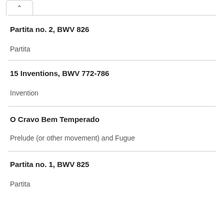Partita no. 2, BWV 826
Partita
15 Inventions, BWV 772-786
Invention
O Cravo Bem Temperado
Prelude (or other movement) and Fugue
Partita no. 1, BWV 825
Partita